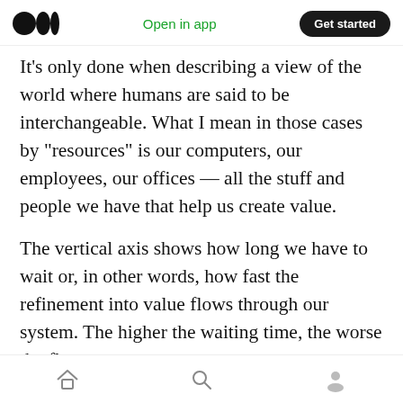Medium logo | Open in app | Get started
It's only done when describing a view of the world where humans are said to be interchangeable. What I mean in those cases by “resources” is our computers, our employees, our offices — all the stuff and people we have that help us create value.
The vertical axis shows how long we have to wait or, in other words, how fast the refinement into value flows through our system. The higher the waiting time, the worse the flow.
Let’s start with the dashed curve that follows
Home | Search | Profile